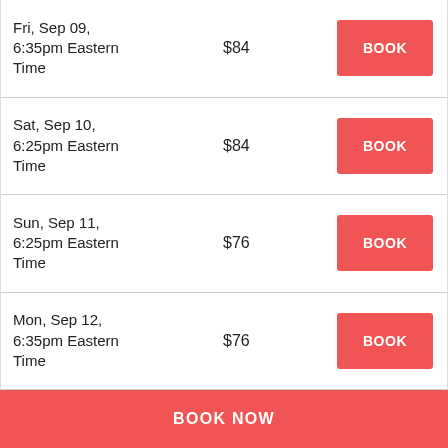| Date/Time | Price | Action |
| --- | --- | --- |
| Fri, Sep 09, 6:35pm Eastern Time | $84 | BOOK |
| Sat, Sep 10, 6:25pm Eastern Time | $84 | BOOK |
| Sun, Sep 11, 6:25pm Eastern Time | $76 | BOOK |
| Mon, Sep 12, 6:35pm Eastern Time | $76 | BOOK |
BOOK NOW